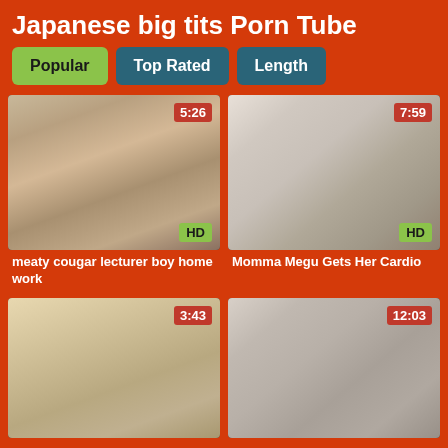Japanese big tits Porn Tube
Popular
Top Rated
Length
[Figure (screenshot): Video thumbnail 1, duration 5:26, HD badge, title: meaty cougar lecturer boy home work]
[Figure (screenshot): Video thumbnail 2, duration 7:59, HD badge, title: Momma Megu Gets Her Cardio]
[Figure (screenshot): Video thumbnail 3, duration 3:43]
[Figure (screenshot): Video thumbnail 4, duration 12:03]